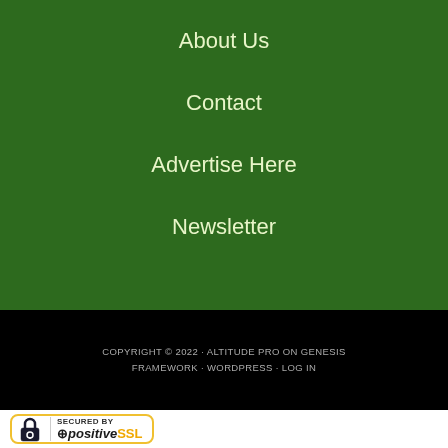About Us
Contact
Advertise Here
Newsletter
COPYRIGHT © 2022 · ALTITUDE PRO ON GENESIS FRAMEWORK · WORDPRESS · LOG IN
[Figure (logo): Secured by positiveSSL badge with padlock icon and yellow border]